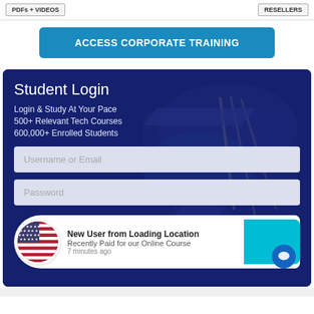PDFs + VIDEOS | RESELLERS
ACCESS CORPORATE TRAINING
Student Login
Login & Study At Your Pace
500+ Relevant Tech Courses
600,000+ Enrolled Students
Username or Email
Password
New User from Loading Location
Recently Paid for our Online Course
7 minutes ago